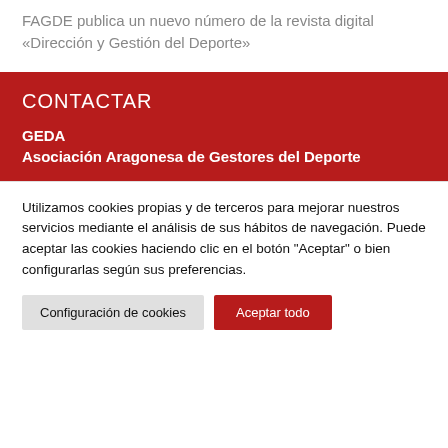FAGDE publica un nuevo número de la revista digital «Dirección y Gestión del Deporte»
CONTACTAR
GEDA
Asociación Aragonesa de Gestores del Deporte
Utilizamos cookies propias y de terceros para mejorar nuestros servicios mediante el análisis de sus hábitos de navegación. Puede aceptar las cookies haciendo clic en el botón "Aceptar" o bien configurarlas según sus preferencias.
Configuración de cookies | Aceptar todo